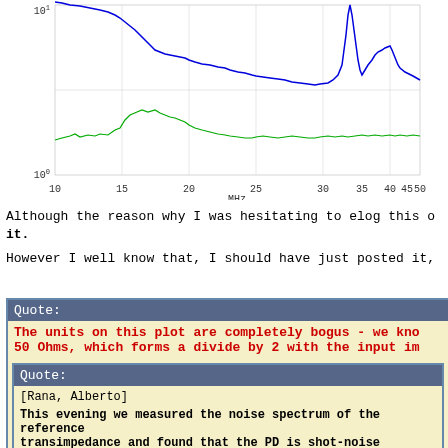[Figure (continuous-plot): Log-scale spectrum plot with frequency (MHz) on x-axis from 10 to 50 MHz, and amplitude on y-axis from 10^0 to 10^1. Two traces: blue line showing higher amplitude with sharp peaks around 43-44 MHz, and green line showing lower amplitude with a broad hump around 25 MHz.]
Although the reason why I was hesitating to elog this o it.
However I well know that, I should have just posted it,
Quote: The units on this plot are completely bogus - we kno 50 Ohms, which forms a divide by 2 with the input im
Quote: [Rana, Alberto]

This evening we measured the noise spectrum of the reference transimpedance and found that the PD is shot-noise limited. modulation sideband which we later attenuated at least in pa

This plot shows the spectrum noise from the RF output of the